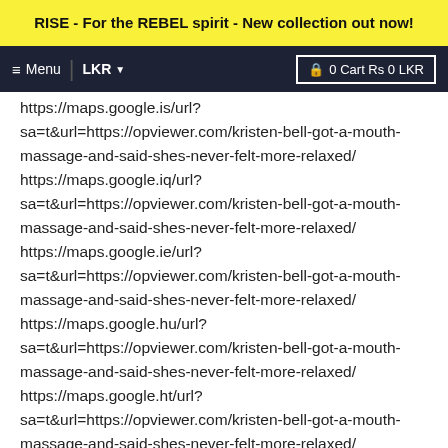RISE - For the REBEL spirit - New collection out now!
≡ Menu  LKR ▾  🔒 0 Cart Rs 0 LKR
https://maps.google.is/url?sa=t&url=https://opviewer.com/kristen-bell-got-a-mouth-massage-and-said-shes-never-felt-more-relaxed/ https://maps.google.iq/url?sa=t&url=https://opviewer.com/kristen-bell-got-a-mouth-massage-and-said-shes-never-felt-more-relaxed/ https://maps.google.ie/url?sa=t&url=https://opviewer.com/kristen-bell-got-a-mouth-massage-and-said-shes-never-felt-more-relaxed/ https://maps.google.hu/url?sa=t&url=https://opviewer.com/kristen-bell-got-a-mouth-massage-and-said-shes-never-felt-more-relaxed/ https://maps.google.ht/url?sa=t&url=https://opviewer.com/kristen-bell-got-a-mouth-massage-and-said-shes-never-felt-more-relaxed/ https://maps.google.hr/url?